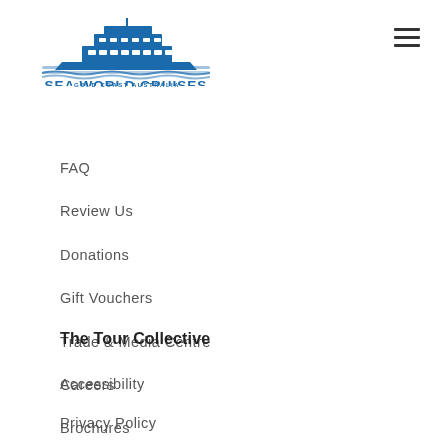[Figure (logo): Sea World Cruises logo — blue cruise ship above wavy water lines, text SEA WORLD CRUISES in bold blue, GOLD COAST AUSTRALIA in smaller text below]
[Figure (other): Hamburger menu icon — three horizontal dark lines]
FAQ
Review Us
Donations
Gift Vouchers
Trade & Media Centre
Careers
Brochures
The Tour Collective
Accessibility
Privacy Policy